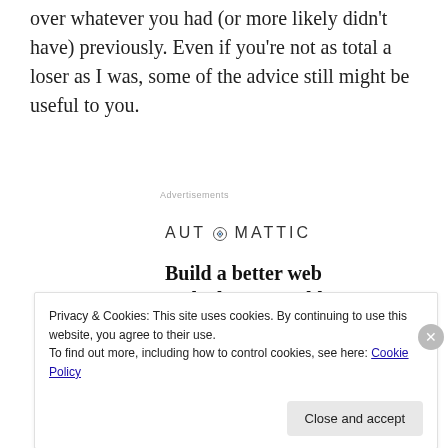over whatever you had (or more likely didn't have) previously. Even if you're not as total a loser as I was, some of the advice still might be useful to you.
[Figure (infographic): Automattic advertisement banner with logo, headline 'Build a better web and a better world.', an Apply button, and a circular photo of a person.]
Privacy & Cookies: This site uses cookies. By continuing to use this website, you agree to their use.
To find out more, including how to control cookies, see here: Cookie Policy